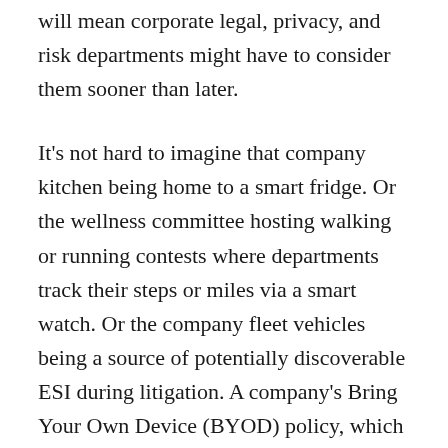will mean corporate legal, privacy, and risk departments might have to consider them sooner than later.
It's not hard to imagine that company kitchen being home to a smart fridge. Or the wellness committee hosting walking or running contests where departments track their steps or miles via a smart watch. Or the company fleet vehicles being a source of potentially discoverable ESI during litigation. A company's Bring Your Own Device (BYOD) policy, which may have been focused solely on laptops, tablets, and mobile devices, might now also include these wearable